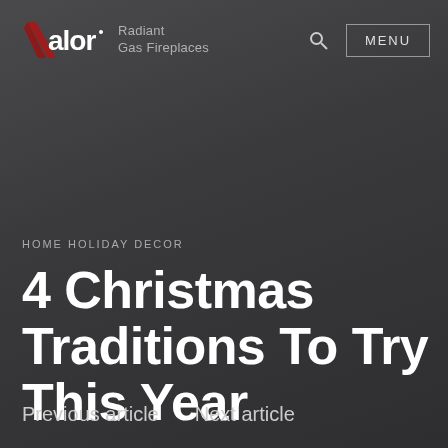Valor Radiant Gas Fireplaces — MENU
HOME HOLIDAY DECOR
4 Christmas Traditions To Try This Year
Previous article   Next article